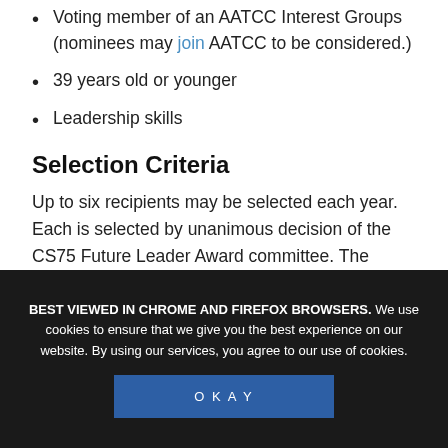Voting member of an AATCC Interest Groups (nominees may join AATCC to be considered.)
39 years old or younger
Leadership skills
Selection Criteria
Up to six recipients may be selected each year. Each is selected by unanimous decision of the CS75 Future Leader Award committee. The following criteria is considered:
History of service to AATCC and/or the greater textile and related industries
BEST VIEWED IN CHROME AND FIREFOX BROWSERS. We use cookies to ensure that we give you the best experience on our website. By using our services, you agree to our use of cookies.
OKAY